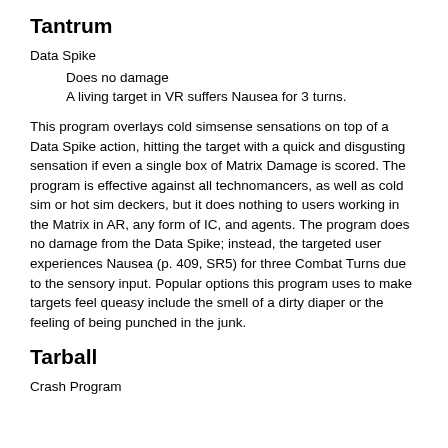attacks. This program adds 1 to the Firewall attribute of a device for the purpose of resisting Reboot Device attempts.
Tantrum
Data Spike
Does no damage
A living target in VR suffers Nausea for 3 turns.
This program overlays cold simsense sensations on top of a Data Spike action, hitting the target with a quick and disgusting sensation if even a single box of Matrix Damage is scored. The program is effective against all technomancers, as well as cold sim or hot sim deckers, but it does nothing to users working in the Matrix in AR, any form of IC, and agents. The program does no damage from the Data Spike; instead, the targeted user experiences Nausea (p. 409, SR5) for three Combat Turns due to the sensory input. Popular options this program uses to make targets feel queasy include the smell of a dirty diaper or the feeling of being punched in the junk.
Tarball
Crash Program